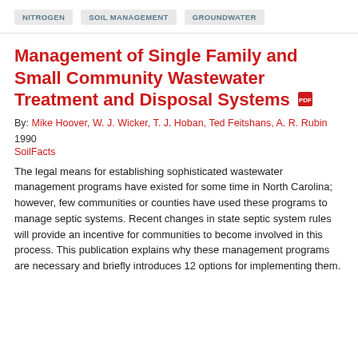NITROGEN
SOIL MANAGEMENT
GROUNDWATER
Management of Single Family and Small Community Wastewater Treatment and Disposal Systems
By: Mike Hoover, W. J. Wicker, T. J. Hoban, Ted Feitshans, A. R. Rubin
1990
SoilFacts
The legal means for establishing sophisticated wastewater management programs have existed for some time in North Carolina; however, few communities or counties have used these programs to manage septic systems. Recent changes in state septic system rules will provide an incentive for communities to become involved in this process. This publication explains why these management programs are necessary and briefly introduces 12 options for implementing them.